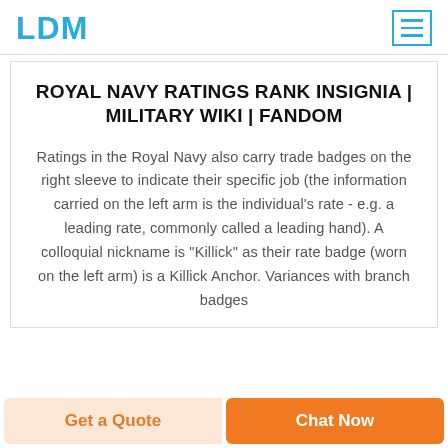LDM
ROYAL NAVY RATINGS RANK INSIGNIA | MILITARY WIKI | FANDOM
Ratings in the Royal Navy also carry trade badges on the right sleeve to indicate their specific job (the information carried on the left arm is the individual's rate - e.g. a leading rate, commonly called a leading hand). A colloquial nickname is "Killick" as their rate badge (worn on the left arm) is a Killick Anchor. Variances with branch badges